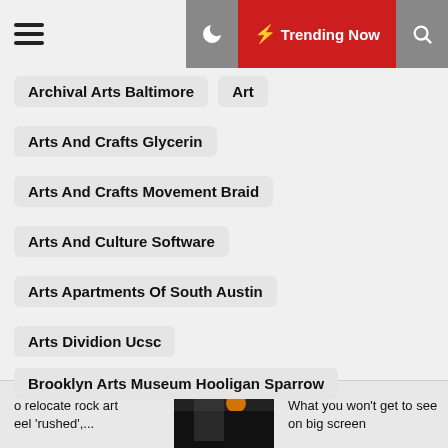Trending Now
Archival Arts Baltimore
Art
Arts And Crafts Glycerin
Arts And Crafts Movement Braid
Arts And Culture Software
Arts Apartments Of South Austin
Arts Dividion Ucsc
Arts Education Network Sonoma County
Arts Festivals
Arts Grant For Disability
Arts In Education Advocacy Groups
Arts In Newport Ri
Arts Of Resistance Scott
Arts Property Case Valuation 2001
British Parliament Fine Arts Chair
Brooklyn Arts Museum Hooligan Sparrow
o relocate rock art eel 'rushed',... What you won't get to see on big screen